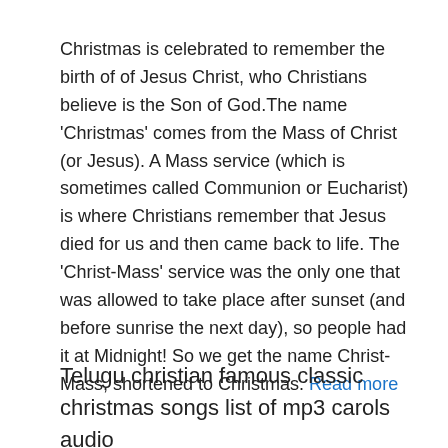Christmas is celebrated to remember the birth of of Jesus Christ, who Christians believe is the Son of God.The name 'Christmas' comes from the Mass of Christ (or Jesus). A Mass service (which is sometimes called Communion or Eucharist) is where Christians remember that Jesus died for us and then came back to life. The 'Christ-Mass' service was the only one that was allowed to take place after sunset (and before sunrise the next day), so people had it at Midnight! So we get the name Christ-Mass, shortened to Christmas. Read more
Telugu christian famous classic christmas songs list of mp3 carols audio